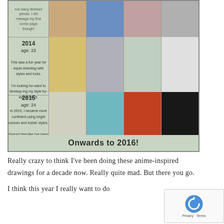[Figure (infographic): Art progress infographic showing years 2014 and 2015 with anime-inspired character drawings arranged in a grid. Each row has a year label with short description text on the left, and four character illustration cells on the right. Bottom banner reads 'Onwards to 2016!']
Really crazy to think I've been doing these anime-inspired drawings for a decade now. Really quite mad. But there you go.
I think this year I really want to do